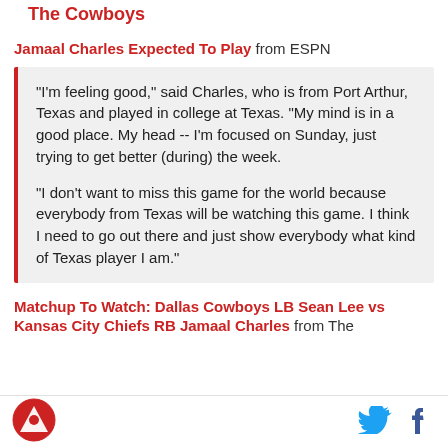The Cowboys
Jamaal Charles Expected To Play from ESPN
"I'm feeling good," said Charles, who is from Port Arthur, Texas and played in college at Texas. "My mind is in a good place. My head -- I'm focused on Sunday, just trying to get better (during) the week.

"I don't want to miss this game for the world because everybody from Texas will be watching this game. I think I need to go out there and just show everybody what kind of Texas player I am."
Matchup To Watch: Dallas Cowboys LB Sean Lee vs Kansas City Chiefs RB Jamaal Charles from The